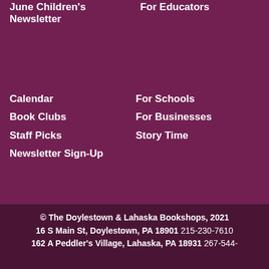June Children's Newsletter
For Educators
Calendar
For Schools
Book Clubs
For Businesses
Staff Picks
Story Time
Newsletter Sign-Up
© The Doylestown & Lahaska Bookshops, 2021
16 S Main St, Doylestown, PA 18901 215-230-7610
162 A Peddler's Village, Lahaska, PA 18931 267-544-